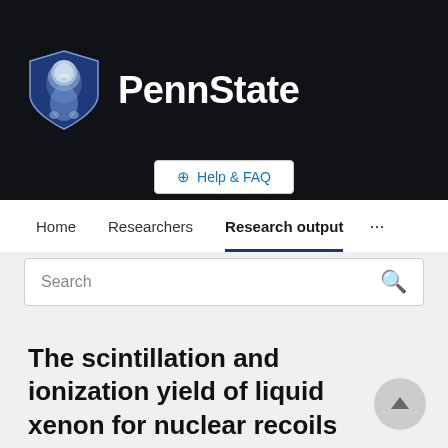[Figure (logo): Penn State University logo with lion mascot shield and PennState text in white on dark background]
Help & FAQ
Home   Researchers   Research output   ...
Search
The scintillation and ionization yield of liquid xenon for nuclear recoils